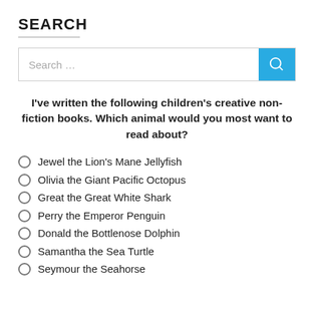SEARCH
[Figure (other): Search input box with a blue search button containing a magnifying glass icon, placeholder text 'Search …']
I've written the following children's creative non-fiction books. Which animal would you most want to read about?
Jewel the Lion's Mane Jellyfish
Olivia the Giant Pacific Octopus
Great the Great White Shark
Perry the Emperor Penguin
Donald the Bottlenose Dolphin
Samantha the Sea Turtle
Seymour the Seahorse